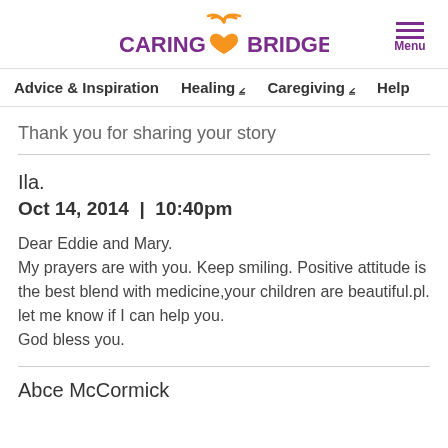CaringBridge logo and Menu
Advice & Inspiration | Healing ▾ | Caregiving ▾ | Help
Thank you for sharing your story
Ila.
Oct 14, 2014  |  10:40pm
Dear Eddie and Mary.
My prayers are with you. Keep smiling. Positive attitude is the best blend with medicine,your children are beautiful.pl. let me know if I can help you.
God bless you.
Abce McCormick